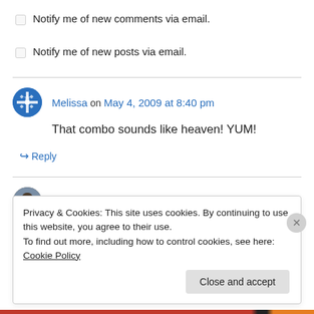Notify me of new comments via email.
Notify me of new posts via email.
Melissa on May 4, 2009 at 8:40 pm
That combo sounds like heaven! YUM!
Reply
Patty on May 4, 2009 at 8:59 pm
Privacy & Cookies: This site uses cookies. By continuing to use this website, you agree to their use. To find out more, including how to control cookies, see here: Cookie Policy
Close and accept